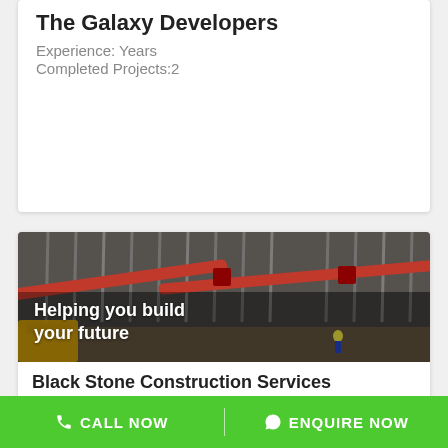The Galaxy Developers
Experience: Years
Completed Projects:2
[Figure (photo): Construction site photo showing concrete formwork, red pipes/struts, and workers in a deep excavation. Overlay text reads 'Helping you build your future'.]
Black Stone Construction Services
CALL NOW   |   ENQUIRE NOW